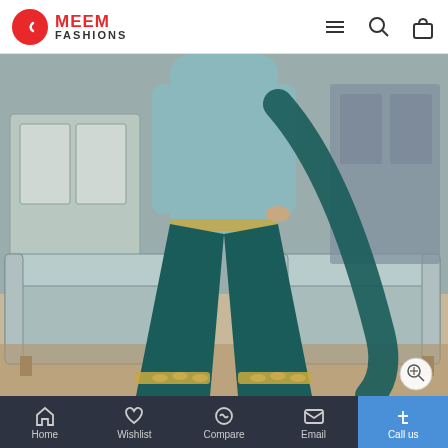MEEM FASHIONS
[Figure (photo): Fashion product photo showing a woman wearing a teal/light blue Indian dress (sharara suit) with gold embroidery at the hem, standing in front of ornate blue furniture]
Maisha
Maskeen Riwaayat By Maisha Indian Dress Eid
Home  Wishlist  Compare  Email  Call us